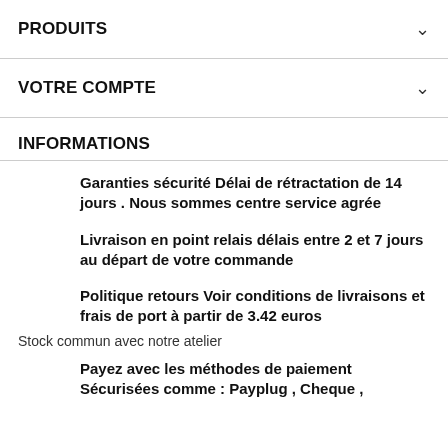PRODUITS
VOTRE COMPTE
INFORMATIONS
Garanties sécurité Délai de rétractation de 14 jours . Nous sommes centre service agrée
Livraison en point relais délais entre 2 et 7 jours au départ de votre commande
Politique retours Voir conditions de livraisons et frais de port à partir de 3.42 euros
Stock commun avec notre atelier
Payez avec les méthodes de paiement Sécurisées comme : Payplug , Cheque ,